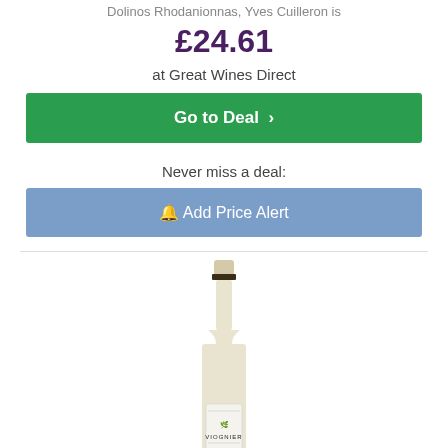Dolinos Rhodanionnas, Yves Cuilleron is
£24.61
at Great Wines Direct
Go to Deal ›
Never miss a deal:
🔔 Add Price Alert
[Figure (photo): A white wine bottle with a white label reading VIOGNIER, with a cream/beige capsule top, tall and slender bottle shape.]